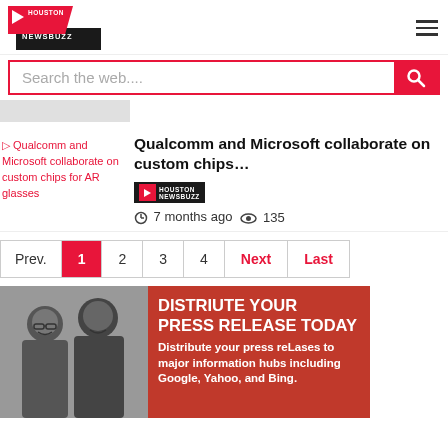[Figure (logo): Houston Newsbuzz logo with red and black design]
Search the web....
Qualcomm and Microsoft collaborate on custom chips...
7 months ago  135
Prev.  1  2  3  4  Next  Last
[Figure (photo): Two women smiling in black and white photo next to red press release advertisement]
DISTRIUTE YOUR PRESS RELEASE TODAY Distribute your press reLases to major information hubs including Google, Yahoo, and Bing.